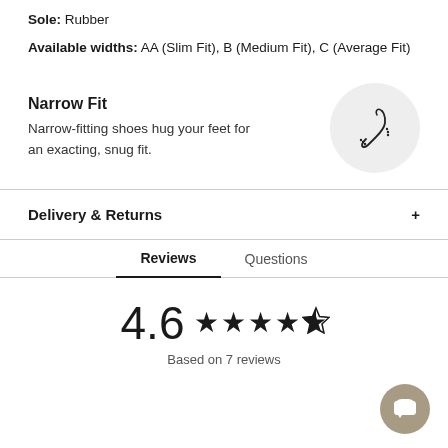Sole: Rubber
Available widths: AA (Slim Fit), B (Medium Fit), C (Average Fit)
Narrow Fit
Narrow-fitting shoes hug your feet for an exacting, snug fit.
[Figure (illustration): Circular grey icon showing a narrow foot/shoe silhouette with dotted lines indicating the narrow fit concept]
Delivery & Returns
Reviews | Questions (tab navigation, Reviews active)
4.6 ★★★★½
Based on 7 reviews